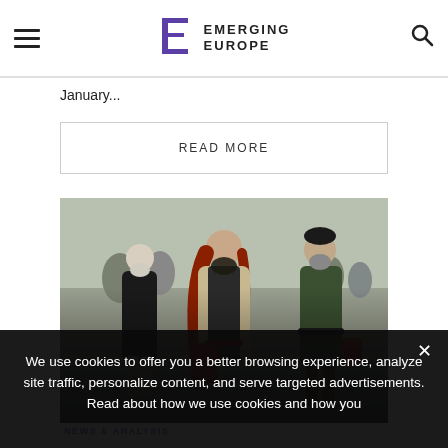Emerging Europe
January...
READ MORE
[Figure (photo): People wearing face masks walking on a busy street, three women in foreground including one with long red hair carrying a red bag]
NEWS & ANALYSIS
Czech Republic implements new measures i...
We use cookies to offer you a better browsing experience, analyze site traffic, personalize content, and serve targeted advertisements. Read about how we use cookies and how you